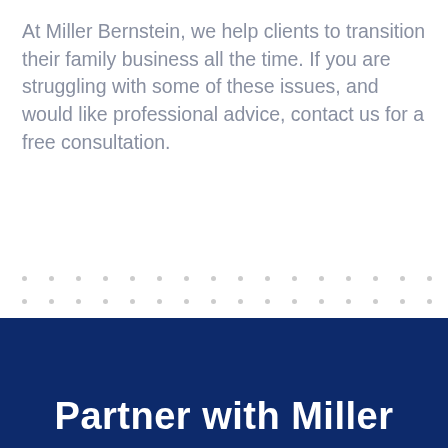At Miller Bernstein, we help clients to transition their family business all the time. If you are struggling with some of these issues, and would like professional advice, contact us for a free consultation.
Partner with Miller